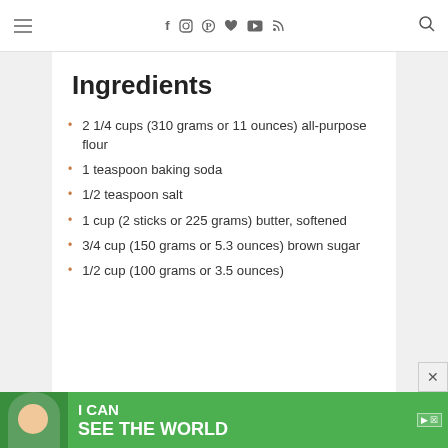Navigation bar with menu icon, social icons (f, Instagram, Pinterest, heart, YouTube, RSS), and search icon
Ingredients
2 1/4 cups (310 grams or 11 ounces) all-purpose flour
1 teaspoon baking soda
1/2 teaspoon salt
1 cup (2 sticks or 225 grams) butter, softened
3/4 cup (150 grams or 5.3 ounces) brown sugar
1/2 cup (100 grams or 3.5 ounces)
[Figure (illustration): Green advertisement banner with a girl and text 'I CAN SEE THE WORLD']